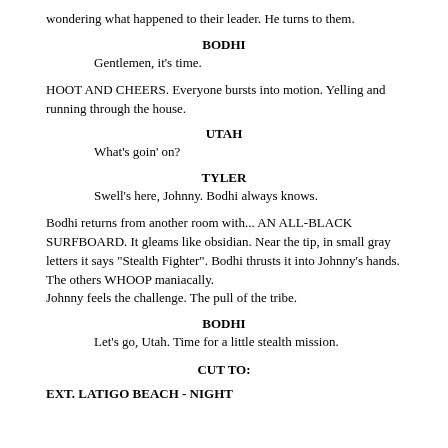wondering what happened to their leader.  He turns to them.
BODHI
Gentlemen, it's time.
HOOT AND CHEERS.  Everyone bursts into motion.  Yelling and running through the house.
UTAH
What's goin' on?
TYLER
Swell's here, Johnny.  Bodhi always knows.
Bodhi returns from another room with... AN ALL-BLACK SURFBOARD.  It gleams like obsidian.  Near the tip, in small gray letters it says "Stealth Fighter".  Bodhi thrusts it into Johnny's hands.
The others WHOOP maniacally.
Johnny feels the challenge.  The pull of the tribe.
BODHI
Let's go, Utah.  Time for a little stealth mission.
CUT TO:
EXT.  LATIGO BEACH - NIGHT